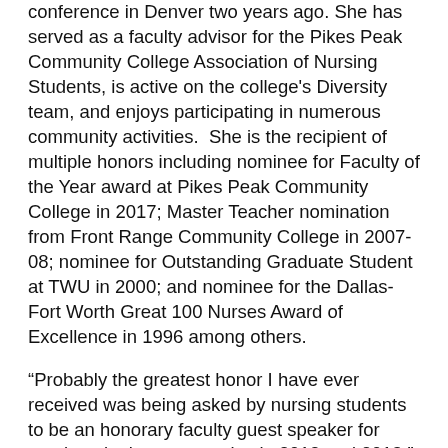conference in Denver two years ago. She has served as a faculty advisor for the Pikes Peak Community College Association of Nursing Students, is active on the college's Diversity team, and enjoys participating in numerous community activities.  She is the recipient of multiple honors including nominee for Faculty of the Year award at Pikes Peak Community College in 2017; Master Teacher nomination from Front Range Community College in 2007-08; nominee for Outstanding Graduate Student at TWU in 2000; and nominee for the Dallas-Fort Worth Great 100 Nurses Award of Excellence in 1996 among others.
“Probably the greatest honor I have ever received was being asked by nursing students to be an honorary faculty guest speaker for nursing pinning ceremonies in 2012 and 2013,” added Murphy.
Murphy is very appreciative to TWU and all faculty, staff, and student colleagues who have made her journey possible.
“It is hard to describe my feelings about receiving this scholarship award,” added Murphy.  “I am blessed and so very thankful to Virginia Chandler Dykes, whose lifework